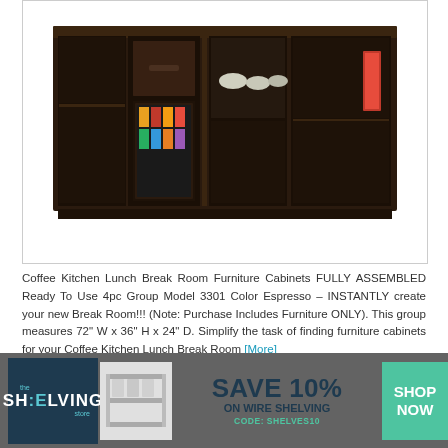[Figure (photo): Product photo of Coffee Kitchen Lunch Break Room Furniture Cabinets in Espresso color, showing a long dark espresso-colored cabinet unit with open shelves and a mini refrigerator section]
Coffee Kitchen Lunch Break Room Furniture Cabinets FULLY ASSEMBLED Ready To Use 4pc Group Model 3301 Color Espresso – INSTANTLY create your new Break Room!!! (Note: Purchase Includes Furniture ONLY). This group measures 72" W x 36" H x 24" D. Simplify the task of finding furniture cabinets for your Coffee Kitchen Lunch Break Room [More]
[Figure (infographic): The Shelving Store advertisement banner: dark navy logo section with 'the SHELVING store', product image of wire shelving unit, center text 'SAVE 10% ON WIRE SHELVING CODE: SHELVES10', teal SHOP NOW button on right. Background is gray.]